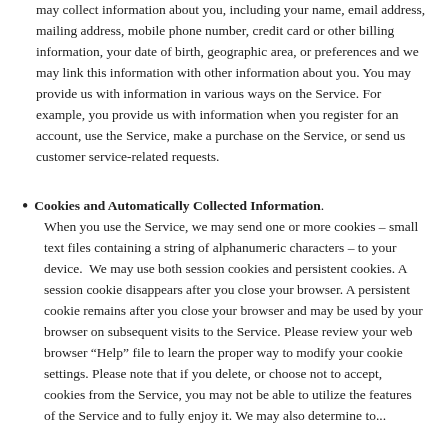may collect information about you, including your name, email address, mailing address, mobile phone number, credit card or other billing information, your date of birth, geographic area, or preferences and we may link this information with other information about you. You may provide us with information in various ways on the Service. For example, you provide us with information when you register for an account, use the Service, make a purchase on the Service, or send us customer service-related requests.
Cookies and Automatically Collected Information. When you use the Service, we may send one or more cookies – small text files containing a string of alphanumeric characters – to your device.  We may use both session cookies and persistent cookies. A session cookie disappears after you close your browser. A persistent cookie remains after you close your browser and may be used by your browser on subsequent visits to the Service. Please review your web browser “Help” file to learn the proper way to modify your cookie settings. Please note that if you delete, or choose not to accept, cookies from the Service, you may not be able to utilize the features of the Service and to fully enjoy it. We may also determine to...